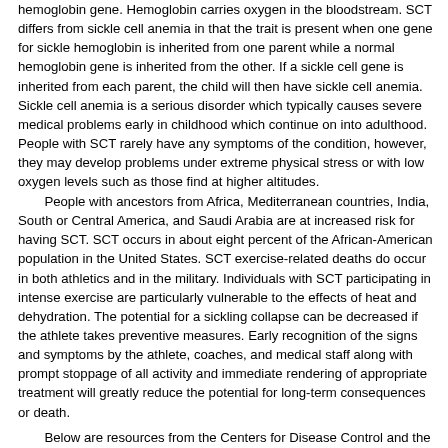hemoglobin gene. Hemoglobin carries oxygen in the bloodstream. SCT differs from sickle cell anemia in that the trait is present when one gene for sickle hemoglobin is inherited from one parent while a normal hemoglobin gene is inherited from the other. If a sickle cell gene is inherited from each parent, the child will then have sickle cell anemia. Sickle cell anemia is a serious disorder which typically causes severe medical problems early in childhood which continue on into adulthood. People with SCT rarely have any symptoms of the condition, however, they may develop problems under extreme physical stress or with low oxygen levels such as those find at higher altitudes.
People with ancestors from Africa, Mediterranean countries, India, South or Central America, and Saudi Arabia are at increased risk for having SCT. SCT occurs in about eight percent of the African-American population in the United States. SCT exercise-related deaths do occur in both athletics and in the military. Individuals with SCT participating in intense exercise are particularly vulnerable to the effects of heat and dehydration. The potential for a sickling collapse can be decreased if the athlete takes preventive measures. Early recognition of the signs and symptoms by the athlete, coaches, and medical staff along with prompt stoppage of all activity and immediate rendering of appropriate treatment will greatly reduce the potential for long-term consequences or death.
Below are resources from the Centers for Disease Control and the